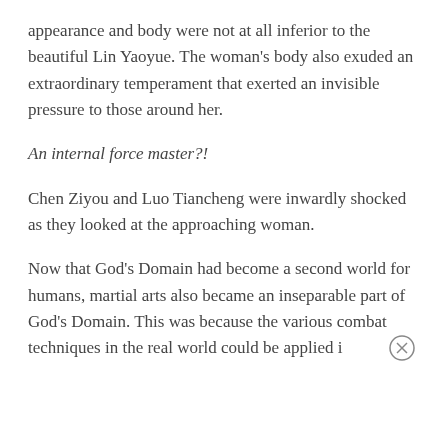appearance and body were not at all inferior to the beautiful Lin Yaoyue. The woman's body also exuded an extraordinary temperament that exerted an invisible pressure to those around her.
An internal force master?!
Chen Ziyou and Luo Tiancheng were inwardly shocked as they looked at the approaching woman.
Now that God's Domain had become a second world for humans, martial arts also became an inseparable part of God's Domain. This was because the various combat techniques in the real world could be applied i…